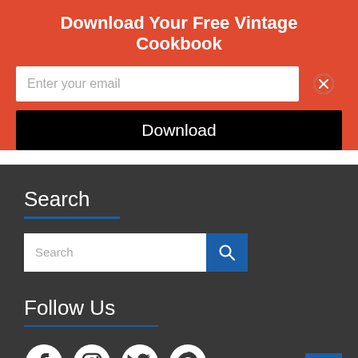Download Your Free Vintage Cookbook
Enter your email
Download
Search
Search
Follow Us
[Figure (illustration): Social media icons: Facebook, Instagram, Twitter, Pinterest]